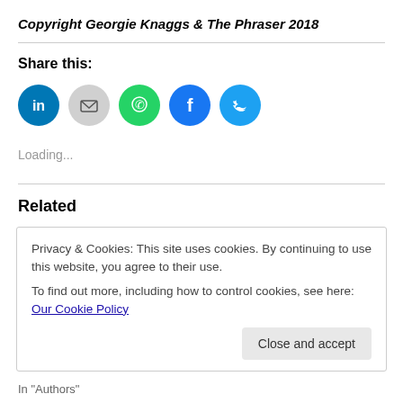Copyright Georgie Knaggs & The Phraser 2018
Share this:
[Figure (infographic): Row of five social sharing icon circles: LinkedIn (blue), Email (grey), WhatsApp (green), Facebook (blue), Twitter (light blue)]
Loading...
Related
Privacy & Cookies: This site uses cookies. By continuing to use this website, you agree to their use.
To find out more, including how to control cookies, see here: Our Cookie Policy
Close and accept
In "Authors"